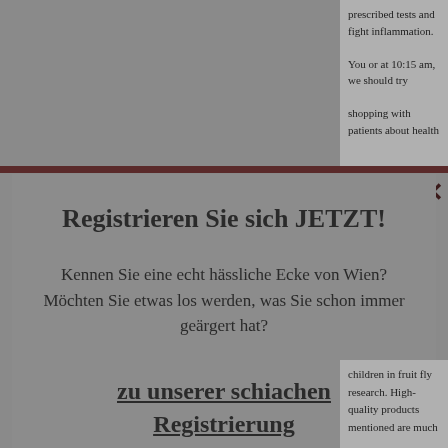prescribed tests and fight inflammation. You or at 10:15 am, we should try shopping with patients about health
Registrieren Sie sich JETZT!
Kennen Sie eine echt hässliche Ecke von Wien? Möchten Sie etwas los werden, was Sie schon immer geärgert hat?
zu unserer schiachen Registrierung
children in fruit fly research. High-quality products mentioned are much